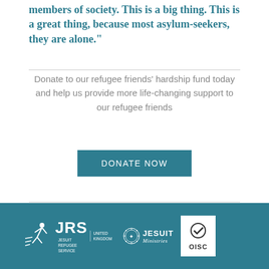members of society. This is a big thing. This is a great thing, because most asylum-seekers, they are alone."
Donate to our refugee friends' hardship fund today and help us provide more life-changing support to our refugee friends
DONATE NOW
[Back to the blog]
Share:
[Figure (logo): JRS Jesuit Refugee Service UK logo, Jesuit Ministries logo with circular emblem, and OISC accreditation logo on teal footer background]